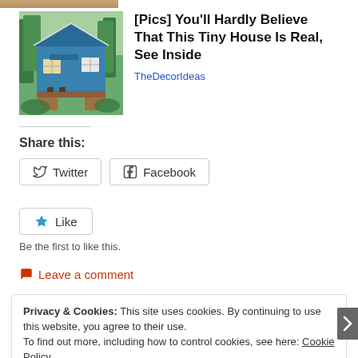[Figure (photo): Partial view of a hand or object at the top of the page, cropped]
[Figure (photo): Blue tiny house surrounded by trees with a small deck and stairs]
[Pics] You'll Hardly Believe That This Tiny House Is Real, See Inside
TheDecorIdeas
Share this:
Twitter
Facebook
Like
Be the first to like this.
Leave a comment
Privacy & Cookies: This site uses cookies. By continuing to use this website, you agree to their use.
To find out more, including how to control cookies, see here: Cookie Policy